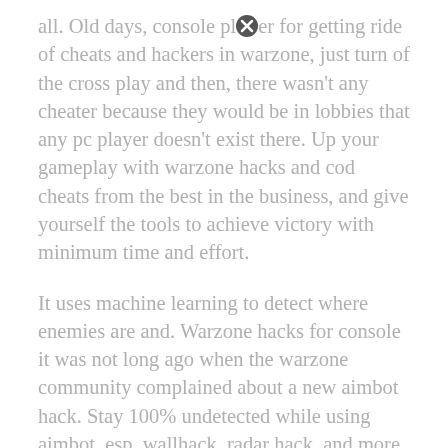all. Old days, console player for getting ride of cheats and hackers in warzone, just turn of the cross play and then, there wasn't any cheater because they would be in lobbies that any pc player doesn't exist there. Up your gameplay with warzone hacks and cod cheats from the best in the business, and give yourself the tools to achieve victory with minimum time and effort.
It uses machine learning to detect where enemies are and. Warzone hacks for console it was not long ago when the warzone community complained about a new aimbot hack. Stay 100% undetected while using aimbot, esp, wallhack, radar hack, and more.
The #1 warzone hacks and cheats "if you ain't cheatin', you ain't tryin'. But now everything has changed, and consoles have one of the most robust cheats. The warzone cheat in question it